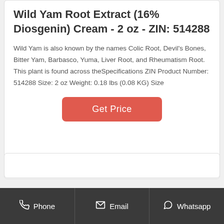Wild Yam Root Extract (16% Diosgenin) Cream - 2 oz - ZIN: 514288
Wild Yam is also known by the names Colic Root, Devil's Bones, Bitter Yam, Barbasco, Yuma, Liver Root, and Rheumatism Root. This plant is found across theSpecifications ZIN Product Number: 514288 Size: 2 oz Weight: 0.18 lbs (0.08 KG) Size
Get Price
Phone   Email   Whatsapp